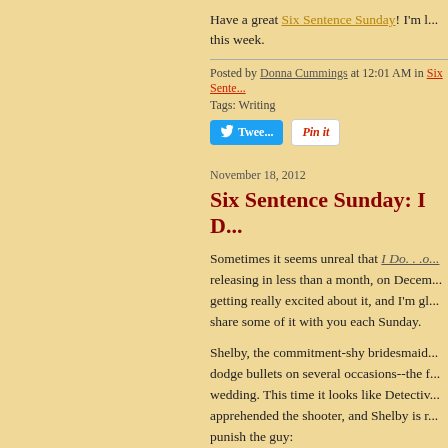Have a great Six Sentence Sunday! I'm l... this week.
Posted by Donna Cummings at 12:01 AM in Six Sente...
Tags: Writing
[Figure (screenshot): Tweet button and Pin it button]
November 18, 2012
Six Sentence Sunday: I D...
Sometimes it seems unreal that I Do. . .o... releasing in less than a month, on Decem... getting really excited about it, and I'm gl... share some of it with you each Sunday.
Shelby, the commitment-shy bridesmaid... dodge bullets on several occasions--the f... wedding. This time it looks like Detectiv... apprehended the shooter, and Shelby is r... punish the guy:
“I can’t believe what you’ve put m...
I wanted to hit the assassin with s... without grabbing any hitting impl... yard, knowing there had to be son...